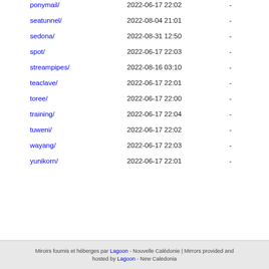| Name | Last modified | Size |
| --- | --- | --- |
| ponymail/ | 2022-06-17 22:02 | - |
| seatunnel/ | 2022-08-04 21:01 | - |
| sedona/ | 2022-08-31 12:50 | - |
| spot/ | 2022-06-17 22:03 | - |
| streampipes/ | 2022-08-16 03:10 | - |
| teaclave/ | 2022-06-17 22:01 | - |
| toree/ | 2022-06-17 22:00 | - |
| training/ | 2022-06-17 22:04 | - |
| tuweni/ | 2022-06-17 22:02 | - |
| wayang/ | 2022-06-17 22:03 | - |
| yunikorn/ | 2022-06-17 22:01 | - |
Miroirs fournis et héberges par Lagoon - Nouvelle Calédonie | Mirrors provided and hosted by Lagoon - New Caledonia